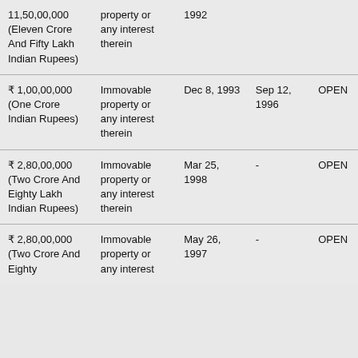| 11,50,00,000 (Eleven Crore And Fifty Lakh Indian Rupees) | property or any interest therein | 1992 |  |  |
| ₹ 1,00,00,000 (One Crore Indian Rupees) | Immovable property or any interest therein | Dec 8, 1993 | Sep 12, 1996 | OPEN |
| ₹ 2,80,00,000 (Two Crore And Eighty Lakh Indian Rupees) | Immovable property or any interest therein | Mar 25, 1998 | - | OPEN |
| ₹ 2,80,00,000 (Two Crore And Eighty | Immovable property or any interest | May 26, 1997 | - | OPEN |